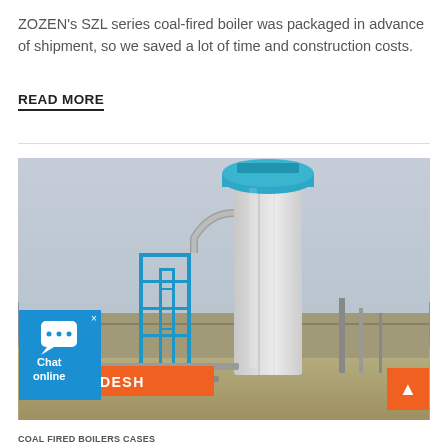ZOZEN's SZL series coal-fired boiler was packaged in advance of shipment, so we saved a lot of time and construction costs.
READ MORE
[Figure (photo): Industrial boiler installation in Bangladesh showing a tall white cylindrical tower with blue steel scaffolding structure and piping in the foreground. Orange label 'BANGLADESH' overlaid at bottom left. Chat widget and scroll-up button visible as UI overlays.]
COAL FIRED BOILERS CASES